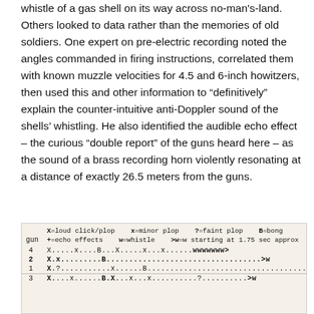whistle of a gas shell on its way across no-man's-land. Others looked to data rather than the memories of old soldiers. One expert on pre-electric recording noted the angles commanded in firing instructions, correlated them with known muzzle velocities for 4.5 and 6-inch howitzers, then used this and other information to "definitively" explain the counter-intuitive anti-Doppler sound of the shells' whistling. He also identified the audible echo effect – the curious "double report" of the guns heard here – as the sound of a brass recording horn violently resonating at a distance of exactly 26.5 meters from the guns.
| gun | pattern |
| --- | --- |
|  | X=loud click/plop   x=minor plop   ?=faint plop   B=bong |
|  | +=echo effects   w=whistle   >w=w starting at 1.75 sec approx |
| 4 | X.....x....B...X.....x...x......wwwwwww> |
| 2 | X.x.........B..................................>w |
| 1 | X.?...........x......B.....................................>w |
| 3 | X....x......B.X...x...x..........?..........>w |